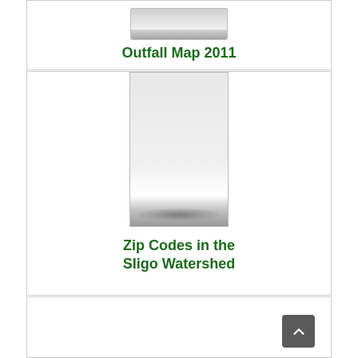[Figure (map): Thumbnail map image for Outfall Map 2011]
Outfall Map 2011
[Figure (map): Thumbnail map image for Zip Codes in the Sligo Watershed]
Zip Codes in the Sligo Watershed